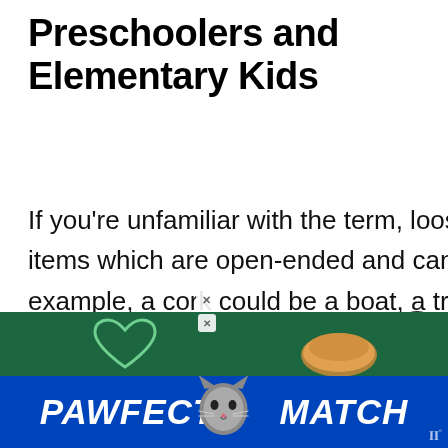Preschoolers and Elementary Kids
If you're unfamiliar with the term, loose parts play is simply providing items which are open-ended and can be used in a myriad of ways. For example, a cork could be a boat, a tree, or a castle tower. A dandelion could take on the role of a wand, a toothbrush, or a flagpole.
[Figure (screenshot): Heart/like button icon (dark circle with heart), count 383, and share icon button on the right sidebar]
[Figure (screenshot): What's Next promo: thumbnail image with rainbow colors and text 'Free Rainbow printable']
[Figure (screenshot): Advertisement banner: PAWFECT MATCH pet food ad with cat image on blue/teal background]